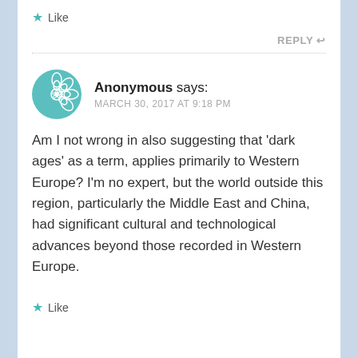Like
REPLY
Anonymous says: MARCH 30, 2017 AT 9:18 PM
Am I not wrong in also suggesting that ‘dark ages’ as a term, applies primarily to Western Europe? I’m no expert, but the world outside this region, particularly the Middle East and China, had significant cultural and technological advances beyond those recorded in Western Europe.
Like